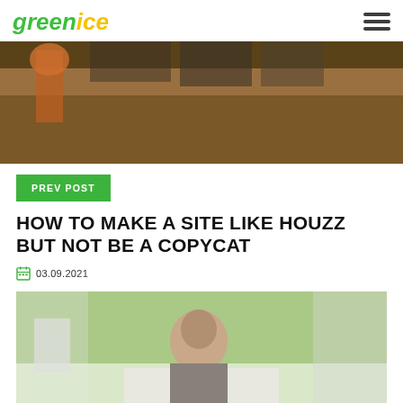greenice
[Figure (photo): Construction site photo showing excavation work near a building with workers and heavy machinery]
PREV POST
HOW TO MAKE A SITE LIKE HOUZZ BUT NOT BE A COPYCAT
03.09.2021
[Figure (photo): Photo of a person with glasses indoors near a window with greenery outside]